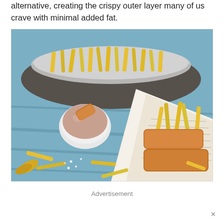alternative, creating the crispy outer layer many of us crave with minimal added fat.
[Figure (photo): Photo of crispy fried fish and chips (french fries) served in a newspaper cone on a blue wooden surface, with a white dipping sauce bowl and a metal tray of fries in the background.]
Advertisement